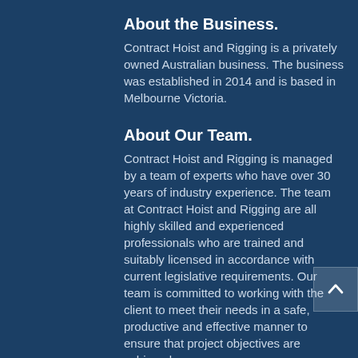About the Business.
Contract Hoist and Rigging is a privately owned Australian business. The business was established in 2014 and is based in Melbourne Victoria.
About Our Team.
Contract Hoist and Rigging is managed by a team of experts who have over 30 years of industry experience. The team at Contract Hoist and Rigging are all highly skilled and experienced professionals who are trained and suitably licensed in accordance with current legislative requirements. Our team is committed to working with the client to meet their needs in a safe, productive and effective manner to ensure that project objectives are achieved.